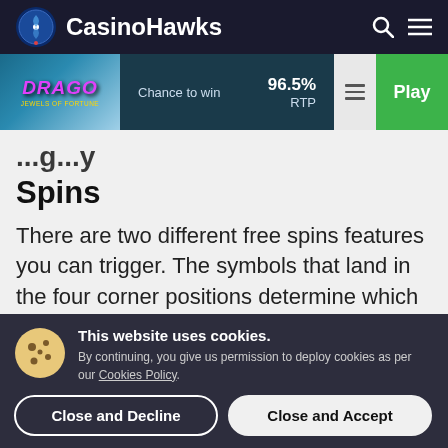CasinoHawks
[Figure (screenshot): Drago Jewels of Fortune game thumbnail with blue aquatic background and purple/yellow DRAGO logo text]
Chance to win | 96.5% RTP | Play
...g...y Spins
There are two different free spins features you can trigger. The symbols that land in the four corner positions determine which free spins feature you activate. The game
This website uses cookies.
By continuing, you give us permission to deploy cookies as per our Cookies Policy.
Close and Decline | Close and Accept